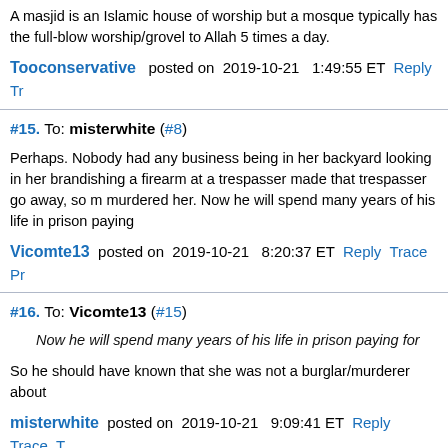A masjid is an Islamic house of worship but a mosque typically has the full-blown worship/grovel to Allah 5 times a day.
Tooconservative posted on 2019-10-21 1:49:55 ET Reply Tr
#15. To: misterwhite (#8)
Perhaps. Nobody had any business being in her backyard looking in her brandishing a firearm at a trespasser made that trespasser go away, so m murdered her. Now he will spend many years of his life in prison paying
Vicomte13 posted on 2019-10-21 8:20:37 ET Reply Trace Pr
#16. To: Vicomte13 (#15)
Now he will spend many years of his life in prison paying for
So he should have known that she was not a burglar/murderer about
misterwhite posted on 2019-10-21 9:09:41 ET Reply Trace
#17. To: Tooconservative (#12)
I notice in the detective's report that the busybody neighbors a